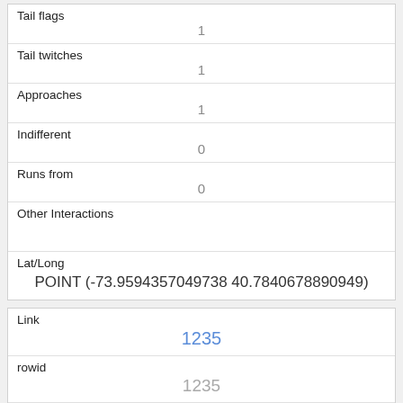| Tail flags | 1 |
| Tail twitches | 1 |
| Approaches | 1 |
| Indifferent | 0 |
| Runs from | 0 |
| Other Interactions |  |
| Lat/Long | POINT (-73.9594357049738 40.7840678890949) |
| Link | 1235 |
| rowid | 1235 |
| longitude |  |